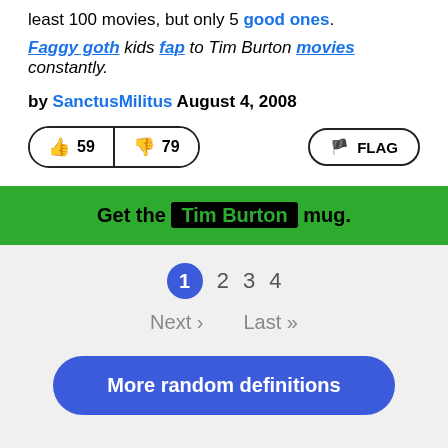least 100 movies, but only 5 good ones.
Faggy goth kids fap to Tim Burton movies constantly.
by SanctusMilitus August 4, 2008
👍 59  👎 79  FLAG
Get the Tim Burton mug.
1  2  3  4
Next›  Last»
More random definitions